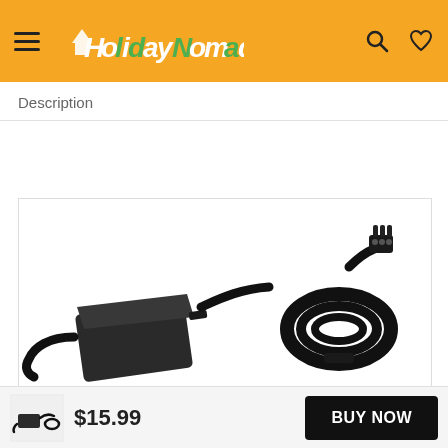HolidayNomad [logo with hamburger menu, search and heart icons]
Description
[Figure (photo): A black laptop AC power adapter/charger brick with attached cable on the left, and a coiled black power cord with a 3-pin connector on the right, photographed on a white background.]
$15.99  BUY NOW